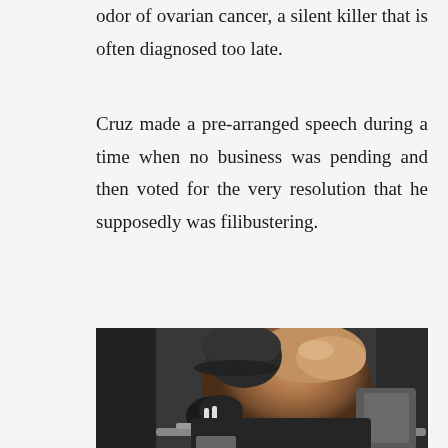odor of ovarian cancer, a silent killer that is often diagnosed too late.
Cruz made a pre-arranged speech during a time when no business was pending and then voted for the very resolution that he supposedly was filibustering.
[Figure (photo): A muscular person wearing a dark cap and sleeveless workout top, bent forward on gym equipment, with glistening skin showing developed back and arm muscles. The gym background is dark with equipment visible.]